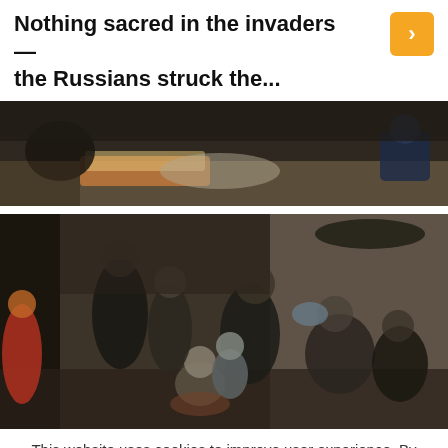Nothing sacred in the invaders — the Russians struck the...
[Figure (photo): Top photo: people sheltering, partial view with mattresses and bedding on the floor in a dimly lit space]
[Figure (photo): Main photo: a group of people including children huddled together in what appears to be a basement or bomb shelter, dark surroundings]
This website uses cookies to improve user experience. By continuing to use the site, you consent to the use of cookies.
OK